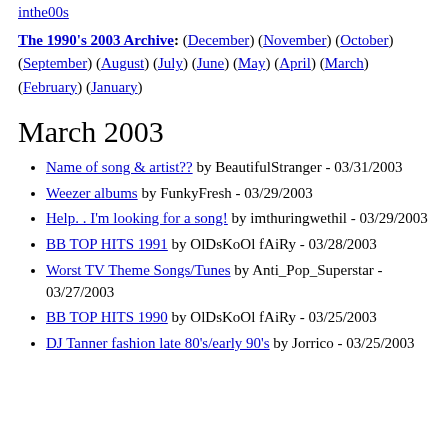inthe00s
The 1990's 2003 Archive: (December) (November) (October) (September) (August) (July) (June) (May) (April) (March) (February) (January)
March 2003
Name of song & artist?? by BeautifulStranger - 03/31/2003
Weezer albums by FunkyFresh - 03/29/2003
Help. . I'm looking for a song! by imthuringwethil - 03/29/2003
BB TOP HITS 1991 by OlDsKoOl fAiRy - 03/28/2003
Worst TV Theme Songs/Tunes by Anti_Pop_Superstar - 03/27/2003
BB TOP HITS 1990 by OlDsKoOl fAiRy - 03/25/2003
DJ Tanner fashion late 80's/early 90's by Jorrico - 03/25/2003